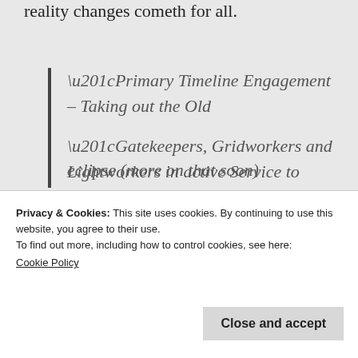reality changes cometh for all.
“Primary Timeline Engagement – Taking out the Old

“Gatekeepers, Gridworkers and Lightworkers in active Service to Source aim to eliminate all which interferes with the
Privacy & Cookies: This site uses cookies. By continuing to use this website, you agree to their use.
To find out more, including how to control cookies, see here:
Cookie Policy
Close and accept
eclipse (more on that soon)